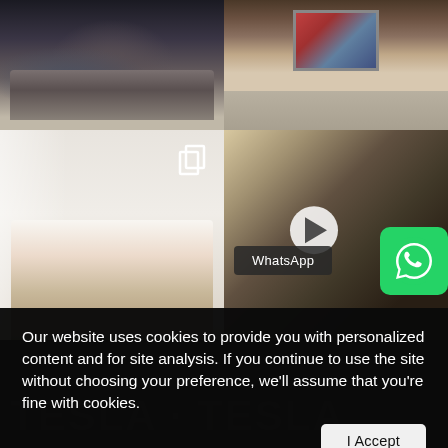[Figure (photo): Top-left: luxury dark bedroom with bed, blue chair, and hardwood floor]
[Figure (photo): Top-right: modern bright room with large TV, painting on wall, and light-colored rug]
[Figure (photo): Bottom-left: bright white minimalist bedroom with upholstered headboard and white bedding, copy icon overlay]
[Figure (photo): Bottom-right: ornate interior corridor/hall with decorative sculptures, play button overlay, WhatsApp button, and WhatsApp logo]
Our website uses cookies to provide you with personalized content and for site analysis. If you continue to use the site without choosing your preference, we'll assume that you're fine with cookies.
I Accept